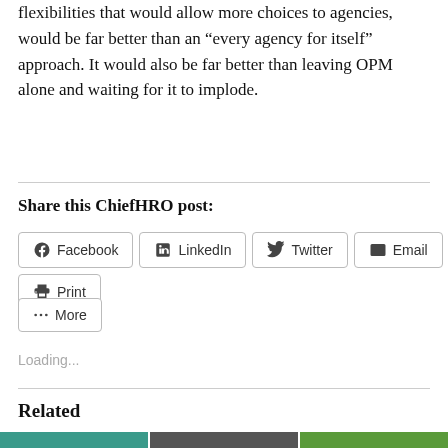flexibilities that would allow more choices to agencies, would be far better than an “every agency for itself” approach. It would also be far better than leaving OPM alone and waiting for it to implode.
Share this ChiefHRO post:
Facebook  LinkedIn  Twitter  Email  Print  More
Loading...
Related